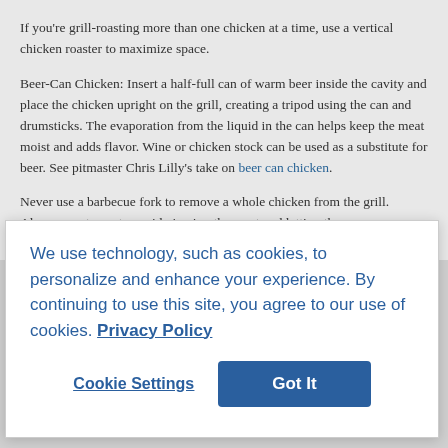If you're grill-roasting more than one chicken at a time, use a vertical chicken roaster to maximize space.
Beer-Can Chicken: Insert a half-full can of warm beer inside the cavity and place the chicken upright on the grill, creating a tripod using the can and drumsticks. The evaporation from the liquid in the can helps keep the meat moist and adds flavor. Wine or chicken stock can be used as a substitute for beer. See pitmaster Chris Lilly's take on beer can chicken.
Never use a barbecue fork to remove a whole chicken from the grill. Always use tongs to avoid piercing the meat and letting the
We use technology, such as cookies, to personalize and enhance your experience. By continuing to use this site, you agree to our use of cookies. Privacy Policy
Cookie Settings
Got It